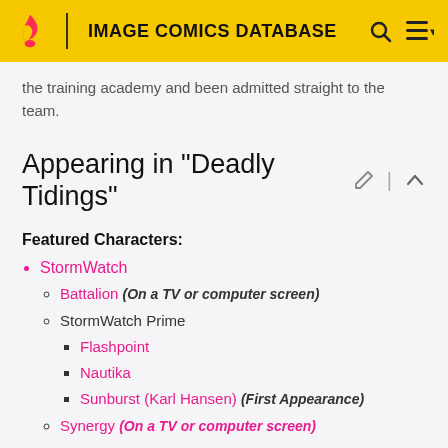IMAGE COMICS DATABASE
the training academy and been admitted straight to the team.
Appearing in "Deadly Tidings"
Featured Characters:
StormWatch
Battalion (On a TV or computer screen)
StormWatch Prime
Flashpoint
Nautika
Sunburst (Karl Hansen) (First Appearance)
Synergy (On a TV or computer screen)